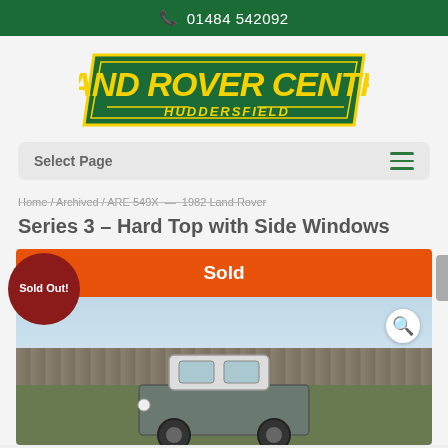01484 542092
[Figure (logo): Land Rover Centre Huddersfield logo — green parallelogram background with yellow italic text reading LAND ROVER CENTRE and HUDDERSFIELD in smaller text below]
Select Page
Home / Archived / ARE 549X — 1982 Land Rover Series 3 – Hard Top with Side Windows
Series 3 – Hard Top with Side Windows
Sold
Sold Out!
[Figure (photo): A Land Rover Series 3 hard top with side windows parked on grass in front of a dry stone wall, overcast sky background]